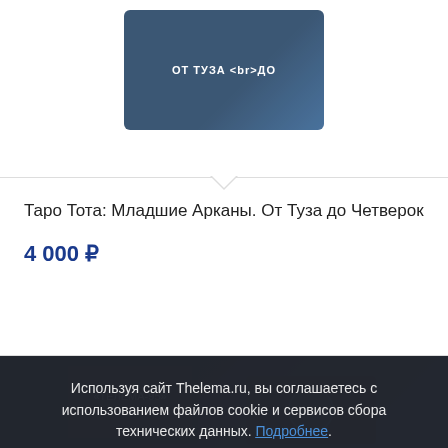[Figure (photo): Product image - dark blue box with Russian text, partial view at top]
Таро Тота: Младшие Арканы. От Туза до Четверок
4 000 ₽
Используя сайт Thelema.ru, вы соглашаетесь с использованием файлов cookie и сервисов сбора технических данных. Подробнее.
Принять
[Figure (photo): Product images at bottom - Thelema-95 book cover and another product partially visible]